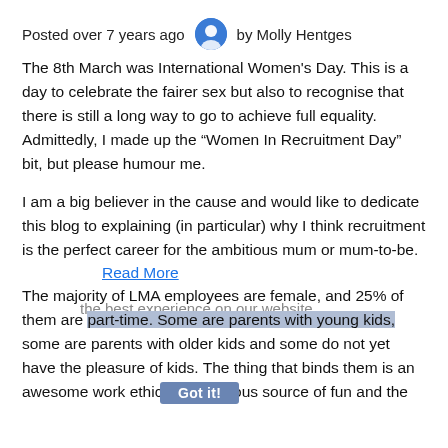Posted over 7 years ago  by Molly Hentges
The 8th March was International Women's Day. This is a day to celebrate the fairer sex but also to recognise that there is still a long way to go to achieve full equality. Admittedly, I made up the “Women In Recruitment Day” bit, but please humour me.
I am a big believer in the cause and would like to dedicate this blog to explaining (in particular) why I think recruitment is the perfect career for the ambitious mum or mum-to-be.
the best experience on our website.
Read More
The majority of LMA employees are female, and 25% of them are part-time. Some are parents with young kids, some are parents with older kids and some do not yet have the pleasure of kids. The thing that binds them is an awesome work ethic, an infectious source of fun and the
Got it!